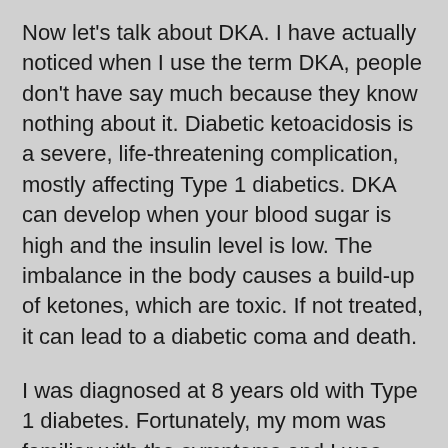Now let's talk about DKA. I have actually noticed when I use the term DKA, people don't have say much because they know nothing about it. Diabetic ketoacidosis is a severe, life-threatening complication, mostly affecting Type 1 diabetics. DKA can develop when your blood sugar is high and the insulin level is low. The imbalance in the body causes a build-up of ketones, which are toxic. If not treated, it can lead to a diabetic coma and death.
I was diagnosed at 8 years old with Type 1 diabetes. Fortunately, my mom was familiar with the symptoms and I was hospitalized with a blood sugar of around 500 mg/dl (27.8 mmol/L). I had literally just moved to a new town, new house, and was about to go to a new school. Now I had a new disease to tackle. Although my family was very supportive, we took the approach of “don’t act like anything is wrong” so that